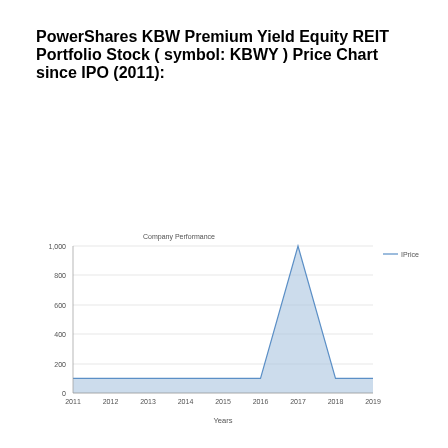PowerShares KBW Premium Yield Equity REIT Portfolio Stock ( symbol: KBWY ) Price Chart since IPO (2011):
[Figure (area-chart): Company Performance]